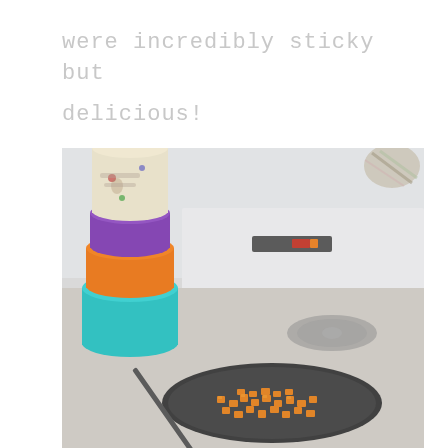were incredibly sticky but delicious!
[Figure (photo): A dark non-stick frying pan on a stovetop containing small diced orange pieces (likely sweet potato or butternut squash), with a colorful stacked ceramic cookie jar in the background and a striped oven mitt partially visible in the upper right corner.]